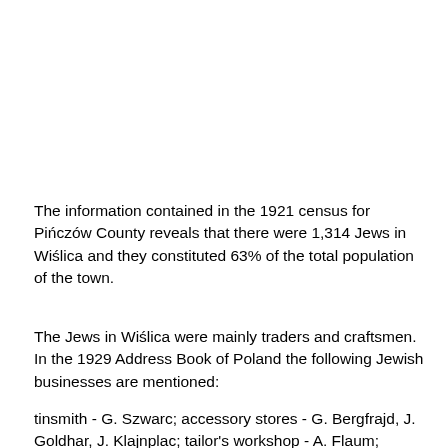The information contained in the 1921 census for Pińczów County reveals that there were 1,314 Jews in Wiślica and they constituted 63% of the total population of the town.
The Jews in Wiślica were mainly traders and craftsmen. In the 1929 Address Book of Poland the following Jewish businesses are mentioned:
tinsmith - G. Szwarc; accessory stores - G. Bergfrajd, J. Goldhar, J. Klajnplac; tailor's workshop - A. Flaum; manufactories - I. Cichy, S. Linden, Ch. Ostrowicz, I.